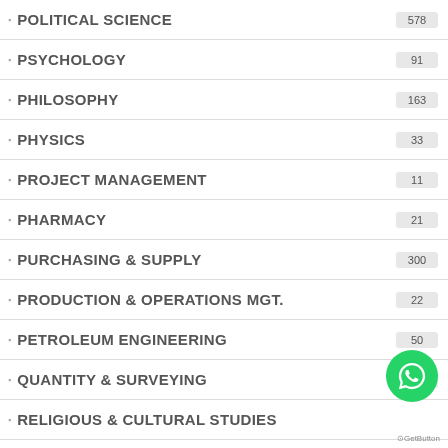POLITICAL SCIENCE 578
PSYCHOLOGY 91
PHILOSOPHY 163
PHYSICS 33
PROJECT MANAGEMENT 11
PHARMACY 21
PURCHASING & SUPPLY 300
PRODUCTION & OPERATIONS MGT. 22
PETROLEUM ENGINEERING 50
QUANTITY & SURVEYING 74
RELIGIOUS & CULTURAL STUDIES
SOCIAL STUDIES 16